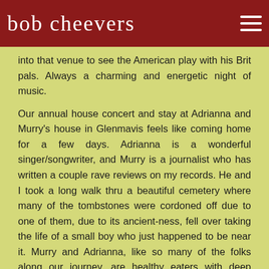bob cheevers
into that venue to see the American play with his Brit pals. Always a charming and energetic night of music.
Our annual house concert and stay at Adrianna and Murry's house in Glenmavis feels like coming home for a few days. Adrianna is a wonderful singer/songwriter, and Murry is a journalist who has written a couple rave reviews on my records. He and I took a long walk thru a beautiful cemetery where many of the tombstones were cordoned off due to one of them, due to its ancient-ness, fell over taking the life of a small boy who just happened to be near it. Murry and Adrianna, like so many of the folks along our journey, are healthy eaters with deep attachments to their musical and journalistic passions.